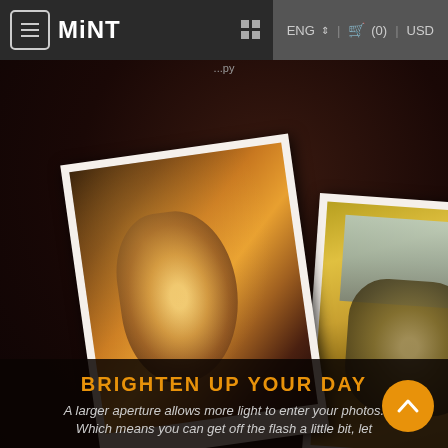≡ MiNT | ⊞ | ENG ⇕ | 🛒 (0) | USD
...py
[Figure (photo): Two Polaroid-style instant photos on a dark background. Left photo shows a young toddler/child sitting, warm amber tones. Right photo shows a tabby cat standing on what appears to be a cushion, with warm golden tones.]
BRIGHTEN UP YOUR DAY
A larger aperture allows more light to enter your photos. Which means you can get off the flash a little bit, let